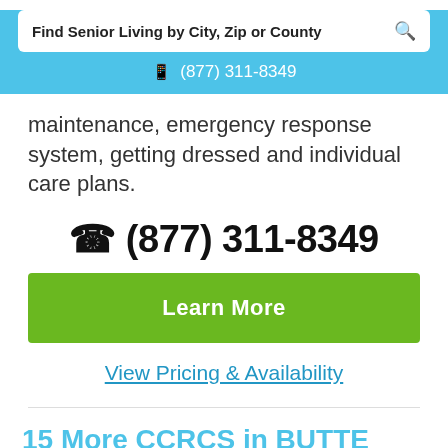Find Senior Living by City, Zip or County  📞 (877) 311-8349
maintenance, emergency response system, getting dressed and individual care plans.
📞 (877) 311-8349
Learn More
View Pricing & Availability
15 More CCRCS in BUTTE County, CA